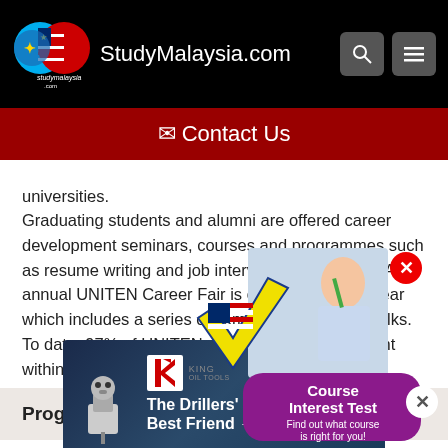StudyMalaysia.com
✉ Contact Us
universities.
Graduating students and alumni are offered career development seminars, courses and programmes such as resume writing and job interview preparations. An annual UNITEN Career Fair is conducted every year which includes a series of seminars, dinner and talks. To date, 97% of UNITEN students find employment within 6 months of course completion.
Programmes
[Figure (infographic): Course Interest Test advertisement overlay with StudyMalaysia logo, a student photo, and text 'Course Interest Test - Find out what course is right for you!']
[Figure (infographic): King Oil Tools advertisement banner with robot/driller image and text 'The Drillers' Best Friend →']